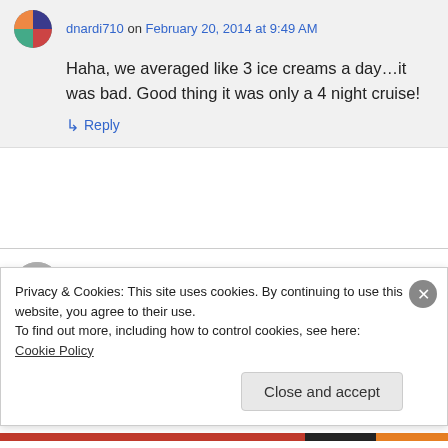dnardi710 on February 20, 2014 at 9:49 AM
Haha, we averaged like 3 ice creams a day…it was bad. Good thing it was only a 4 night cruise!
↳ Reply
Christine @ We Run Disney on February 19, 2014 at 10:45 PM
Privacy & Cookies: This site uses cookies. By continuing to use this website, you agree to their use.
To find out more, including how to control cookies, see here: Cookie Policy
Close and accept